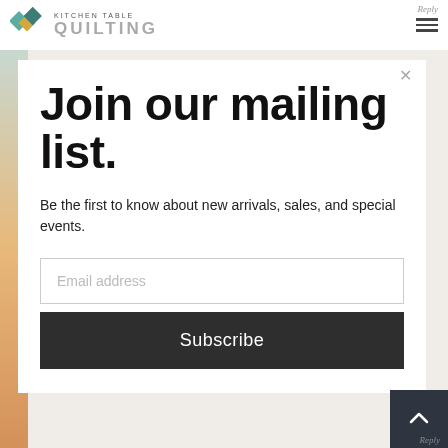Kitchen Table Quilting
Join our mailing list.
Be the first to know about new arrivals, sales, and special events.
Email address
Subscribe